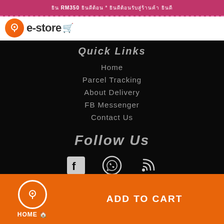ยิน RM350 ยินดีต้อน * ยินดีต้อนรับสู่ร้านค้า ยินดี
[Figure (logo): e-store logo with orange circle and shopping cart icon]
Quick Links
Home
Parcel Tracking
About Delivery
FB Messenger
Contact Us
Follow Us
[Figure (infographic): Social media icons: Facebook, WhatsApp, RSS feed]
HOME 🏠   ADD TO CART